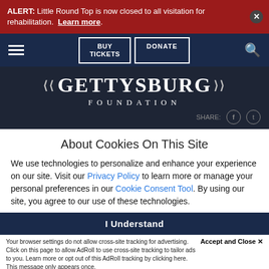ALERT: Little Round Top is now closed to all visitation for rehabilitation. Learn more.
[Figure (screenshot): Navigation bar with hamburger menu, BUY TICKETS and DONATE buttons, and search icon on dark navy background]
[Figure (logo): Gettysburg Foundation logo with decorative flourishes and serif text]
About Cookies On This Site
We use technologies to personalize and enhance your experience on our site. Visit our Privacy Policy to learn more or manage your personal preferences in our Cookie Consent Tool. By using our site, you agree to our use of these technologies.
I Understand
Accept and Close ✕
Your browser settings do not allow cross-site tracking for advertising. Click on this page to allow AdRoll to use cross-site tracking to tailor ads to you. Learn more or opt out of this AdRoll tracking by clicking here. This message only appears once.